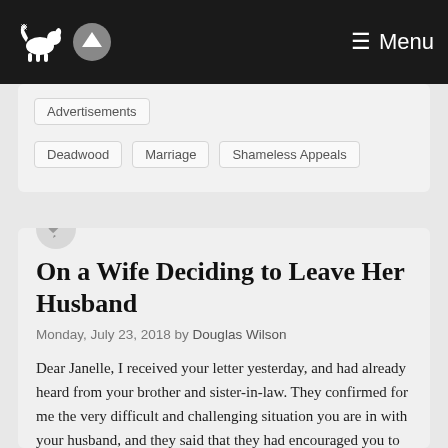Menu
Advertisements
Deadwood
Marriage
Shameless Appeals
On a Wife Deciding to Leave Her Husband
Monday, July 23, 2018 by Douglas Wilson
Dear Janelle, I received your letter yesterday, and had already heard from your brother and sister-in-law. They confirmed for me the very difficult and challenging situation you are in with your husband, and they said that they had encouraged you to write to me with your question. I was glad to hear from you. From …